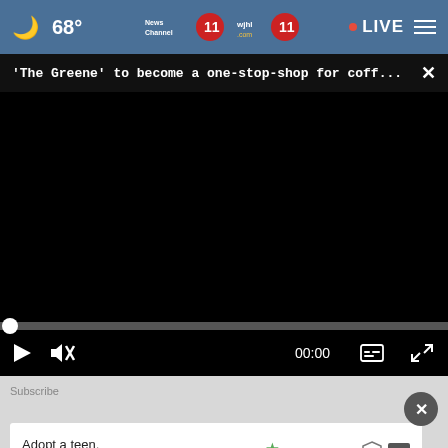68° News Channel 11 wjhl 11 LIVE
'The Greene' to become a one-stop-shop for coff... ×
[Figure (screenshot): Black video player area with no content loaded]
00:00
Subscribe
Adopt a teen. You can't imagine the reward.
WHAT DO YOU THINK